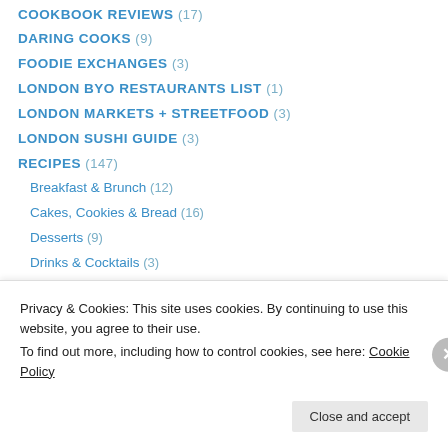COOKBOOK REVIEWS (17)
DARING COOKS (9)
FOODIE EXCHANGES (3)
LONDON BYO RESTAURANTS LIST (1)
LONDON MARKETS + STREETFOOD (3)
LONDON SUSHI GUIDE (3)
RECIPES (147)
Breakfast & Brunch (12)
Cakes, Cookies & Bread (16)
Desserts (9)
Drinks & Cocktails (3)
Eggs (14)
Fish & Seafood (15)
Meat (22)
Privacy & Cookies: This site uses cookies. By continuing to use this website, you agree to their use. To find out more, including how to control cookies, see here: Cookie Policy
Close and accept